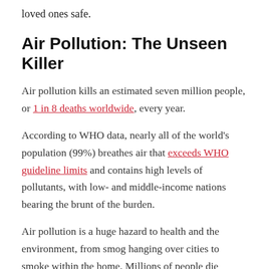loved ones safe.
Air Pollution: The Unseen Killer
Air pollution kills an estimated seven million people, or 1 in 8 deaths worldwide, every year.
According to WHO data, nearly all of the world's population (99%) breathes air that exceeds WHO guideline limits and contains high levels of pollutants, with low- and middle-income nations bearing the brunt of the burden.
Air pollution is a huge hazard to health and the environment, from smog hanging over cities to smoke within the home. Millions of people die prematurely each year due to the combined impacts of ambient and household air pollution,